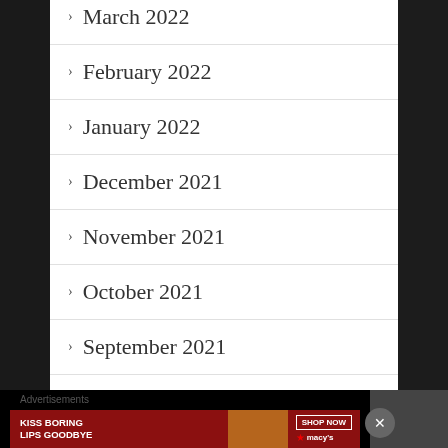> March 2022
> February 2022
> January 2022
> December 2021
> November 2021
> October 2021
> September 2021
> August 2021
Advertisements
[Figure (other): Macy's advertisement banner: KISS BORING LIPS GOODBYE with SHOP NOW button and Macy's star logo on dark red background]